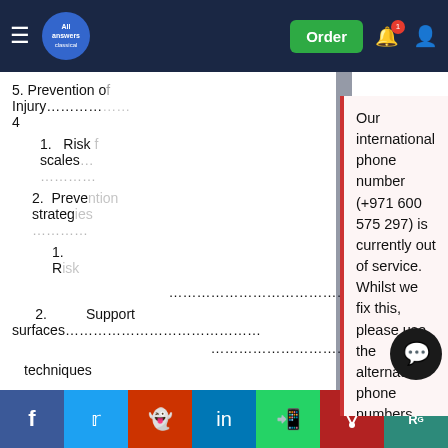All Answers Classical — Navigation bar with hamburger menu, logo, Order button, notification bell, and user icon
5. Prevention of Injury………4
1. Risk scales.………
2. Prevention strategies………
1. R………
………………………………………15
2. Support surfaces……………………………16
techniques
Our international phone number (+971 600 575 297) is currently out of service. Whilst we fix this, please use the alternative phone numbers provided on the contact page, message through your customer account or click the WhatsApp button from your mobile (Monday – Friday 9am – 5pm, Saturday 10am – 6pm UK time).
August 20, 2022
Share icons: Facebook, Twitter, Reddit, LinkedIn, WhatsApp, Mix, ResearchGate